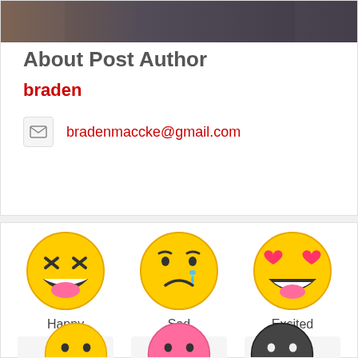[Figure (photo): Partial photo of a person visible at the top of the card]
About Post Author
braden
bradenmaccke@gmail.com
[Figure (infographic): Three emoji reaction icons: Happy (laughing face), Sad (crying face), Excited (heart eyes face), each showing 0 % below]
[Figure (infographic): Partial view of additional emoji reactions at the bottom of the page]